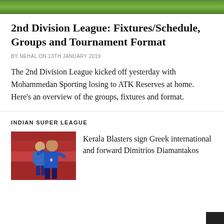[Figure (photo): Green football pitch/grass image at top of page]
2nd Division League: Fixtures/Schedule, Groups and Tournament Format
BY NEHAL ON 13TH JANUARY 2019
The 2nd Division League kicked off yesterday with Mohammedan Sporting losing to ATK Reserves at home. Here’s an overview of the groups, fixtures and format.
INDIAN SUPER LEAGUE
[Figure (photo): Football player wearing blue jersey with number 9, in front of a red stadium background]
Kerala Blasters sign Greek international and forward Dimitrios Diamantakos